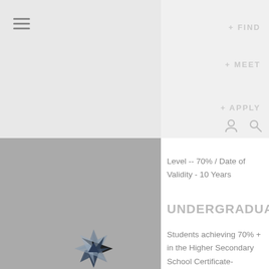[Figure (screenshot): Screenshot of a website page showing navigation header with hamburger menu on left, user and search icons on right, a gray sidebar panel with aperture/camera logo, and a white content panel on the right with education admissions information.]
Level -- 70% / Date of Validity - 10 Years
UNDERGRADUAT
Students achieving 70% + in the Higher Secondary School Certificate- Standard 12 will be considered for entry to the First Year of three year Bachelor degrees. The requirement will vary depending on the